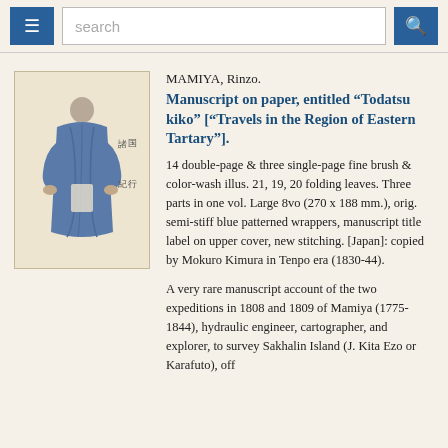search
[Figure (illustration): Watercolor illustration of a figure in a blue robe standing, with Japanese calligraphy on the right side, on a light cream/beige background.]
MAMIYA, Rinzo.
Manuscript on paper, entitled “Todatsu kiko” [“Travels in the Region of Eastern Tartary”].
14 double-page & three single-page fine brush & color-wash illus. 21, 19, 20 folding leaves. Three parts in one vol. Large 8vo (270 x 188 mm.), orig. semi-stiff blue patterned wrappers, manuscript title label on upper cover, new stitching. [Japan]: copied by Mokuro Kimura in Tenpo era (1830-44).
A very rare manuscript account of the two expeditions in 1808 and 1809 of Mamiya (1775-1844), hydraulic engineer, cartographer, and explorer, to survey Sakhalin Island (J. Kita Ezo or Karafuto), off...